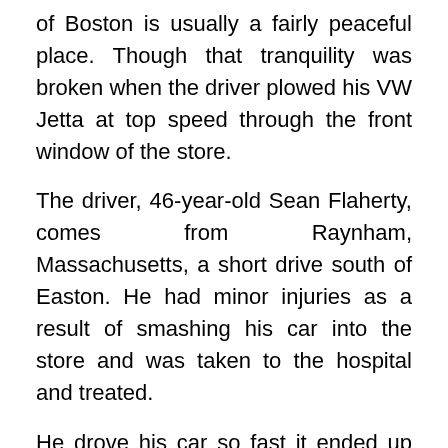of Boston is usually a fairly peaceful place. Though that tranquility was broken when the driver plowed his VW Jetta at top speed through the front window of the store.
The driver, 46-year-old Sean Flaherty, comes from Raynham, Massachusetts, a short drive south of Easton. He had minor injuries as a result of smashing his car into the store and was taken to the hospital and treated.
He drove his car so fast it ended up 20 feet inside the store and nearly killed an employee who happened to be standing near the area where the car suddenly plowed inside without